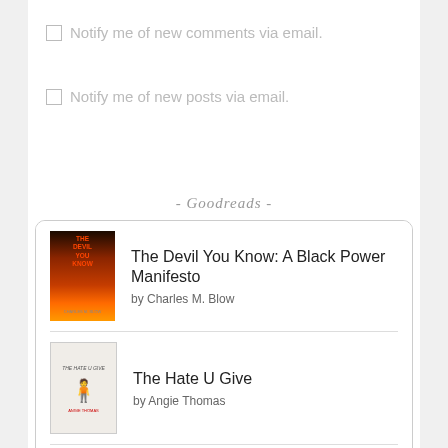Notify me of new comments via email.
Notify me of new posts via email.
- Goodreads -
[Figure (other): Goodreads widget showing a list of books. First book: 'The Devil You Know: A Black Power Manifesto' by Charles M. Blow, with a dark fiery book cover. Second book: 'The Hate U Give' by Angie Thomas, with a light-colored cover showing a figure. Third book partially visible: 'Eloquent Rage: A Black Feminist Discovers Her Superpower' with a yellow cover.]
Eloquent Rage: A Black Feminist Discovers Her...